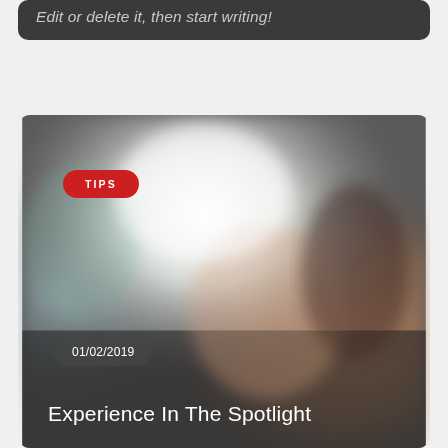Edit or delete it, then start writing!
[Figure (photo): Blurred indoor/spotlight photo with a TIPS badge overlay, date badge 01/02/2019, and title 'Experience In The Spotlight']
TIPS
01/02/2019
Experience In The Spotlight